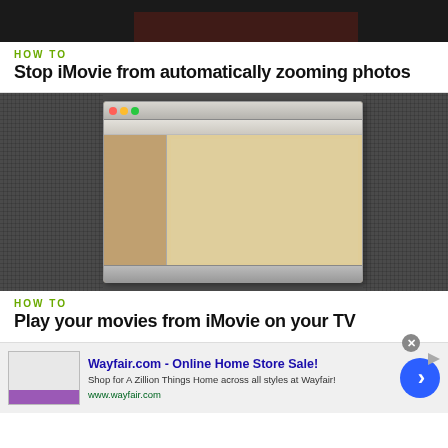[Figure (screenshot): Dark cropped thumbnail at top of page, partial view of a video or image]
HOW TO
Stop iMovie from automatically zooming photos
[Figure (screenshot): Screenshot of a Mac computer with iMovie application open, showing a document/photo editing interface with sidebar]
HOW TO
Play your movies from iMovie on your TV
[Figure (other): Advertisement banner for Wayfair.com - Online Home Store Sale! with logo, description, and call-to-action button]